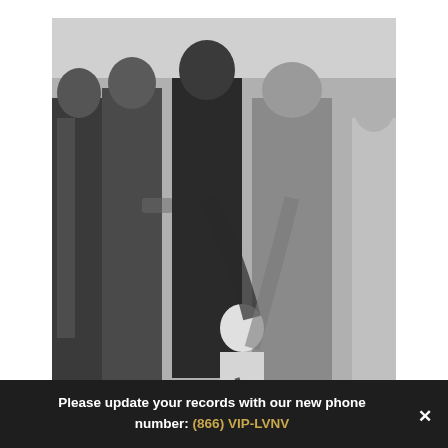[Figure (photo): Black and white photograph of Nevada Stupak as a child with his father Bob Stupak and other spectators at the Stratosphere groundbreaking ceremony. A young child is shown shoveling dirt while adults stand around watching.]
Nevada Stupak as a child with his father, Bob Stupak, and other spectators at the Stratosphere
Please update your records with our new phone number: (866) VIP-LVNV